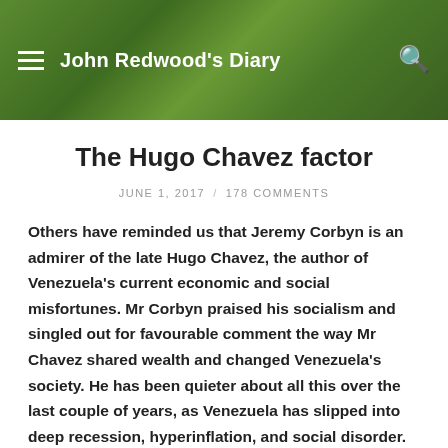John Redwood's Diary
The Hugo Chavez factor
JUNE 1, 2017 / 178 COMMENTS
Others have reminded us that Jeremy Corbyn is an admirer of the late Hugo Chavez, the author of Venezuela's current economic and social misfortunes. Mr Corbyn praised his socialism and singled out for favourable comment the way Mr Chavez shared wealth and changed Venezuela's society. He has been quieter about all this over the last couple of years, as Venezuela has slipped into deep recession, hyperinflation, and social disorder. There are no official economic numbers because they are